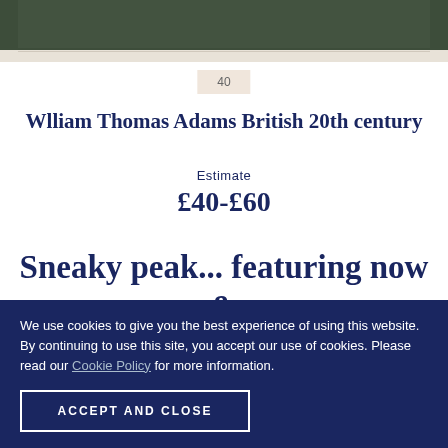[Figure (photo): Top portion of a framed artwork photograph, partially visible, dark-toned painting with beige/cream border]
40
Wlliam Thomas Adams British 20th century
Estimate
£40-£60
Sneaky peak... featuring now &
We use cookies to give you the best experience of using this website. By continuing to use this site, you accept our use of cookies. Please read our Cookie Policy for more information.
ACCEPT AND CLOSE